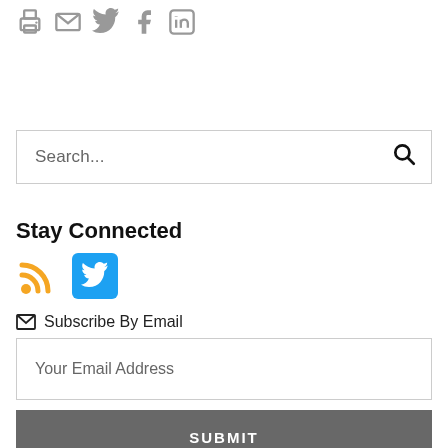[Figure (illustration): Row of five social/sharing icons (print, email, Twitter, Facebook, LinkedIn) in gray]
[Figure (illustration): Search bar with placeholder text 'Search...' and a magnifying glass icon on the right]
Stay Connected
[Figure (illustration): RSS feed icon (orange) and Twitter icon (blue rounded square)]
✉ Subscribe By Email
[Figure (illustration): Email address input field with placeholder 'Your Email Address']
[Figure (illustration): Gray SUBMIT button]